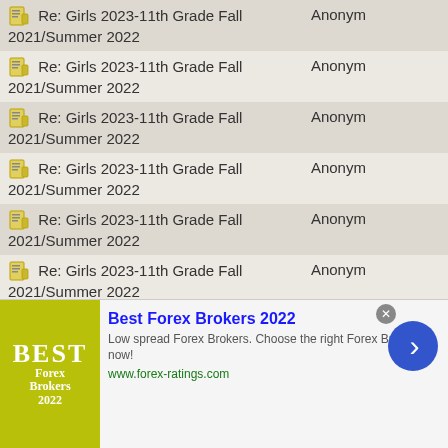| Topic | Author |
| --- | --- |
| Re: Girls 2023-11th Grade Fall 2021/Summer 2022 | Anonym |
| Re: Girls 2023-11th Grade Fall 2021/Summer 2022 | Anonym |
| Re: Girls 2023-11th Grade Fall 2021/Summer 2022 | Anonym |
| Re: Girls 2023-11th Grade Fall 2021/Summer 2022 | Anonym |
| Re: Girls 2023-11th Grade Fall 2021/Summer 2022 | Anonym |
| Re: Girls 2023-11th Grade Fall 2021/Summer 2022 | Anonym |
| Re: Girls 2023-11th Grade Fall 2021/Summer 2022 | Anonym |
| Re: Girls 2023-11th Grade Fall 2021/Summer 2022 | Anonym |
[Figure (other): Advertisement banner for Best Forex Brokers 2022 from forex-ratings.com with yellow-green logo, blue title, descriptive text, and blue arrow button]